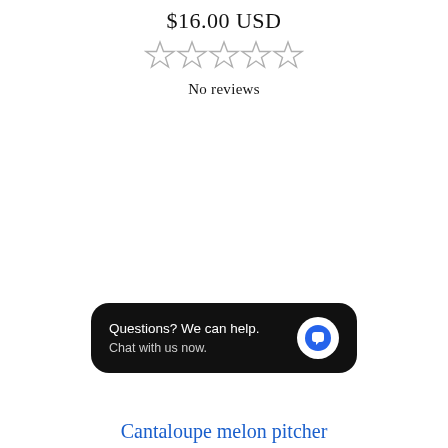$16.00 USD
[Figure (other): Five empty star rating icons in a row]
No reviews
[Figure (other): Chat widget with black rounded rectangle background, text 'Questions? We can help.' and 'Chat with us now.' with a circular chat icon button]
Cantaloupe melon pitcher